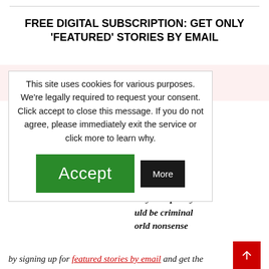FREE DIGITAL SUBSCRIPTION: GET ONLY 'FEATURED' STORIES BY EMAIL
tem for online
t NewsGuard to
ne Lamestream
wsGuard works
to find certain
r stories their
- regardless of
accurate. They
ad-networks to
they rate poorly
uld be criminal
orld nonsense
This site uses cookies for various purposes. We're legally required to request your consent. Click accept to close this message. If you do not agree, please immediately exit the service or click more to learn why.
by signing up for featured stories by email and get the